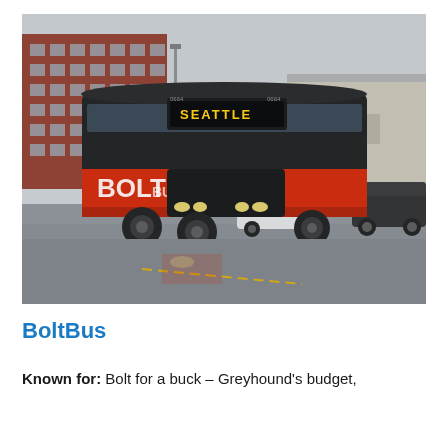[Figure (photo): A black and red BoltBus coach with 'SEATTLE' displayed on the front destination board, in a wet parking lot with urban buildings in the background. The bus displays 'boltbus.com' on the side.]
BoltBus
Known for: Bolt for a buck – Greyhound's budget,